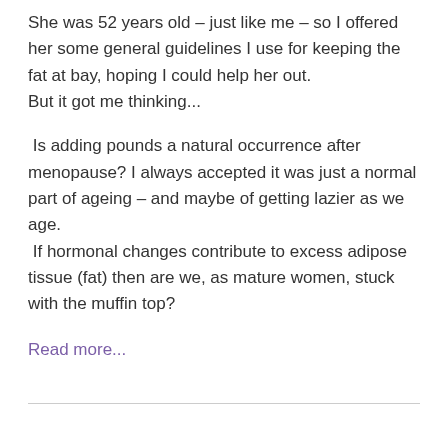She was 52 years old – just like me – so I offered her some general guidelines I use for keeping the fat at bay, hoping I could help her out.
But it got me thinking...

Is adding pounds a natural occurrence after menopause? I always accepted it was just a normal part of ageing – and maybe of getting lazier as we age.
 If hormonal changes contribute to excess adipose tissue (fat) then are we, as mature women, stuck with the muffin top?
Read more...